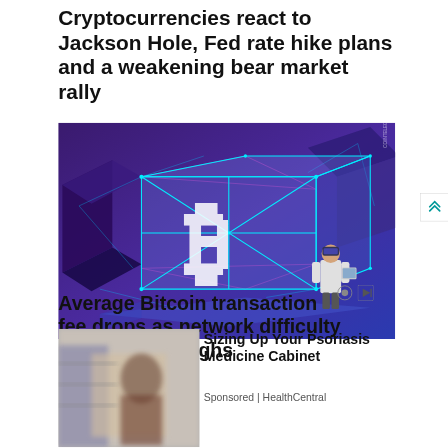Cryptocurrencies react to Jackson Hole, Fed rate hike plans and a weakening bear market rally
[Figure (illustration): A digital illustration showing a glowing white Bitcoin symbol on a translucent blue geometric cube, surrounded by a network of neon blue and pink lines and nodes, with a small figure of a person in a white lab coat examining a tablet device on the right side. Dark purple cube shapes form the background.]
Average Bitcoin transaction fee drops as network difficulty reaches new highs
[Figure (photo): Blurred/pixelated photo of a woman in a grocery store or pharmacy aisle]
Sizing Up Your Psoriasis Medicine Cabinet
Sponsored | HealthCentral